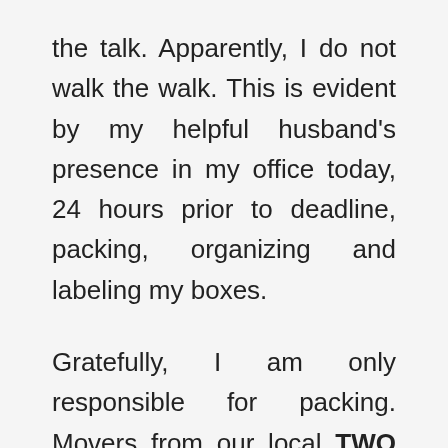the talk. Apparently, I do not walk the walk. This is evident by my helpful husband's presence in my office today, 24 hours prior to deadline, packing, organizing and labeling my boxes.
Gratefully, I am only responsible for packing. Movers from our local TWO MEN AND A TRUCK® franchise will come next week to do the actual moving. And this is great news. Because I'm quite certain my husband's helpfulness doesn't extend into lugging boxes or moving filing cabinets down the stairs to the opposite side of the building.